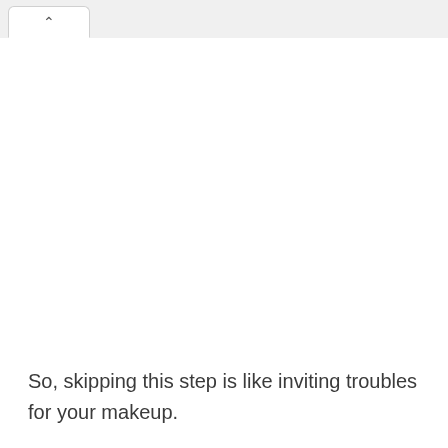[Figure (screenshot): Browser tab bar with a single tab showing a chevron/up-arrow icon]
So, skipping this step is like inviting troubles for your makeup.